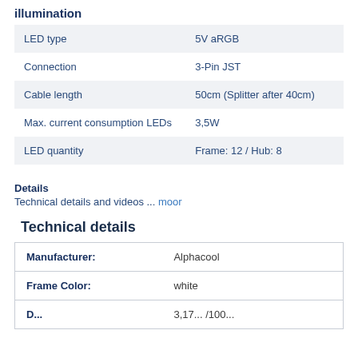illumination
| LED type | 5V aRGB |
| Connection | 3-Pin JST |
| Cable length | 50cm (Splitter after 40cm) |
| Max. current consumption LEDs | 3,5W |
| LED quantity | Frame: 12 / Hub: 8 |
Details
Technical details and videos ... moor
Technical details
| Manufacturer: | Alphacool |
| Frame Color: | white |
| ... | ... |